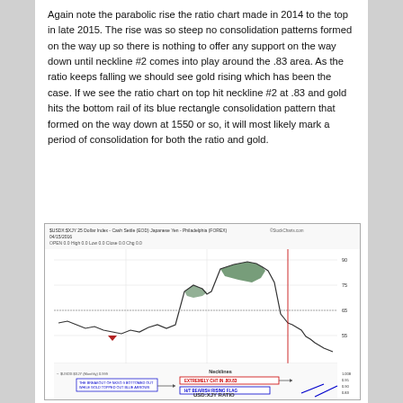Again note the parabolic rise the ratio chart made in 2014 to the top in late 2015. The rise was so steep no consolidation patterns formed on the way up so there is nothing to offer any support on the way down until neckline #2 comes into play around the .83 area. As the ratio keeps falling we should see gold rising which has been the case. If we see the ratio chart on top hit neckline #2 at .83 and gold hits the bottom rail of its blue rectangle consolidation pattern that formed on the way down at 1550 or so, it will most likely mark a period of consolidation for both the ratio and gold.
[Figure (continuous-plot): Financial ratio chart (USD:XJY ratio) showing parabolic rise from 2014 to late 2015 peak, followed by decline. Chart includes candlestick/line data, annotations for necklines, bearish/bullish flags, and ratio levels. Green shaded area marks peak region. Red downward triangle marks a bottom. Blue trend lines visible at lower right.]